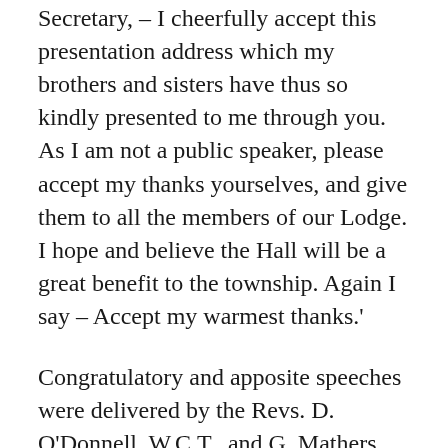Secretary, – I cheerfully accept this presentation address which my brothers and sisters have thus so kindly presented to me through you. As I am not a public speaker, please accept my thanks yourselves, and give them to all the members of our Lodge. I hope and believe the Hall will be a great benefit to the township. Again I say – Accept my warmest thanks.'
Congratulatory and apposite speeches were delivered by the Revs. D. O'Donnell, W.C.T., and G. Mathers, Avoca; and Bros. Holmes, W.P.C.T., and Ranson, Elmhurst. Miss Malcolm presided at the harmonium in an efficient manner. About two hundred people stood around the stone, and gave an eager and appreciative